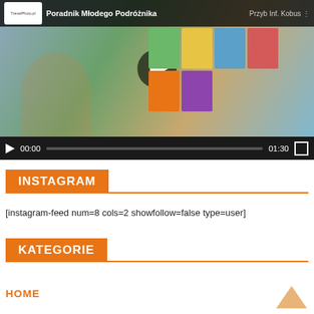[Figure (screenshot): Video player thumbnail showing 'Poradnik Mlodego Podroznika' YouTube video with book covers and a child traveler, with playback controls showing 00:00 / 01:30]
INSTAGRAM
[instagram-feed num=8 cols=2 showfollow=false type=user]
KATEGORIE
HOME